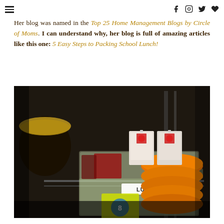≡  f  🔷  🐦  ♥
Her blog was named in the Top 25 Home Management Blogs by Circle of Moms. I can understand why, her blog is full of amazing articles like this one: 5 Easy Steps to Packing School Lunch!
[Figure (photo): A clear plastic storage bin labeled 'LUNCHES' sitting on a pantry shelf, containing orange Tupperware lids, juice boxes, and other lunch supplies.]